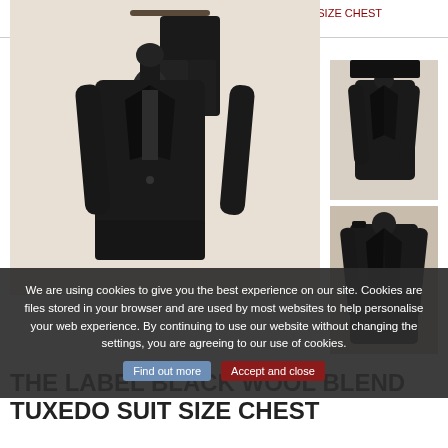HOME › THE LABEL BLACK WOOL BLEND TUXEDO SUIT SIZE CHEST W34/L40
[Figure (photo): Main product photo of a black tuxedo suit on a mannequin, with jacket and trousers on hanger]
[Figure (photo): Thumbnail 1: black tuxedo suit on mannequin, front view]
[Figure (photo): Thumbnail 2: black tuxedo jacket on mannequin, close-up]
We are using cookies to give you the best experience on our site. Cookies are files stored in your browser and are used by most websites to help personalise your web experience. By continuing to use our website without changing the settings, you are agreeing to our use of cookies.
THE LABEL BLACK WOOL BLEND TUXEDO SUIT SIZE CHEST